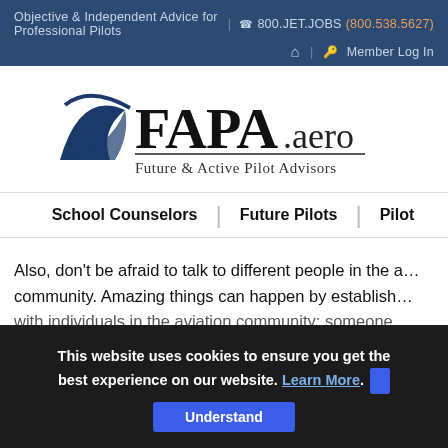Objective & Independent Advice for Professional Pilots | ☎ 800.JET.JOBS (800.538.5627) | 🏠 | 🔑 Member Log In
[Figure (logo): FAPA.aero logo with stylized aircraft/wing and text 'Future & Active Pilot Advisors']
School Counselors | Future Pilots | Pilot
Also, don't be afraid to talk to different people in the aviation community. Amazing things can happen by establishing connections with individuals in the aviation community; someone
This website uses cookies to ensure you get the best experience on our website. Learn More. Understand